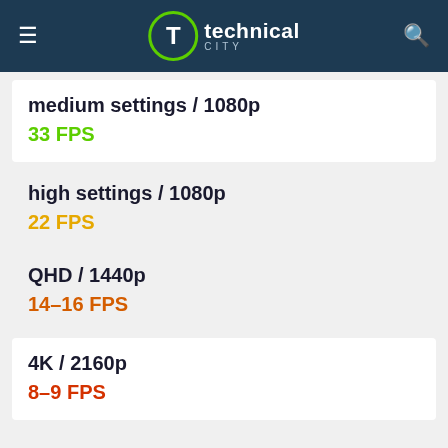technical city
medium settings / 1080p
33 FPS
high settings / 1080p
22 FPS
QHD / 1440p
14–16 FPS
4K / 2160p
8–9 FPS